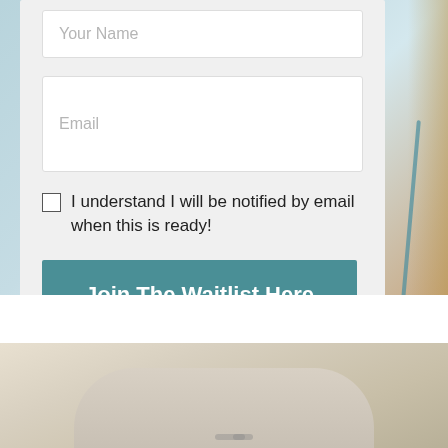[Figure (photo): Background photo showing a coastal/outdoor scene with blurred light blue and beige tones, with a rattan/wicker furniture element visible on the right side.]
Your Name
Email
I understand I will be notified by email when this is ready!
Join The Waitlist Here
[Figure (photo): Bottom photo showing a close-up of what appears to be a rounded, arch-shaped cream/beige ceramic or paper object against a neutral background.]